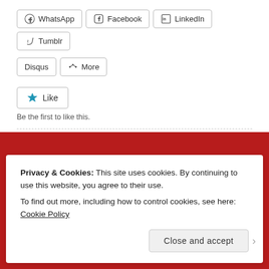[Figure (screenshot): Social share buttons row: WhatsApp, Facebook, LinkedIn, Tumblr]
[Figure (screenshot): Secondary share buttons row: Disqus, More]
[Figure (screenshot): Like button with star icon]
Be the first to like this.
Privacy & Cookies: This site uses cookies. By continuing to use this website, you agree to their use. To find out more, including how to control cookies, see here: Cookie Policy
Close and accept